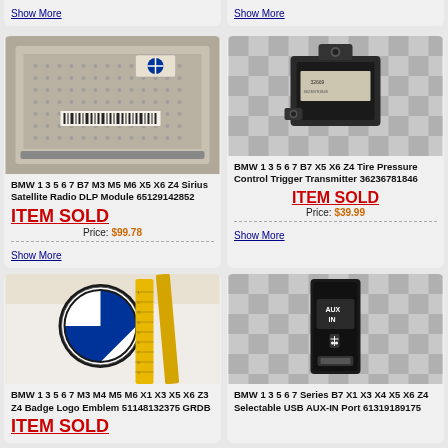Show More (top left partial)
Show More (top right partial)
[Figure (photo): BMW Sirius Satellite Radio DLP Module 65129142852 - metal circuit board with BMW logo sticker]
BMW 1 3 5 6 7 B7 M3 M5 M6 X5 X6 Z4 Sirius Satellite Radio DLP Module 65129142852
ITEM SOLD
Price: $99.78
Show More
[Figure (photo): BMW Tire Pressure Control Trigger Transmitter 36236781846 - small black electronic sensor module]
BMW 1 3 5 6 7 B7 X5 X6 Z4 Tire Pressure Control Trigger Transmitter 36236781846
ITEM SOLD
Price: $39.99
Show More
[Figure (photo): BMW Badge Logo Emblem 51148132375 - blue and white BMW roundel emblem with yellow ruler for scale]
BMW 1 3 5 6 7 M3 M4 M5 M6 X1 X3 X5 X6 Z3 Z4 Badge Logo Emblem 51148132375 GRDB
ITEM SOLD
[Figure (photo): BMW USB AUX-IN Port 61319189175 - small black rectangular switch/port labeled AUX IN with USB icon]
BMW 1 3 5 6 7 Series B7 X1 X3 X4 X5 X6 Z4 Selectable USB AUX-IN Port 61319189175